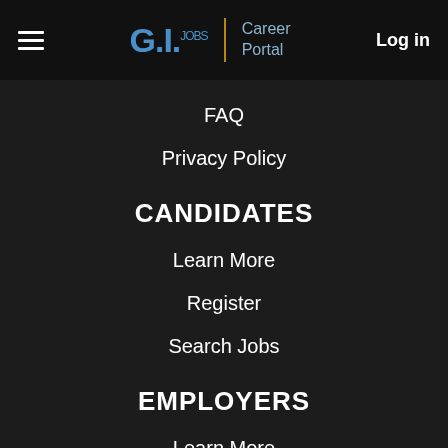G.I. Jobs | Career Portal  Log in
FAQ
Privacy Policy
CANDIDATES
Learn More
Register
Search Jobs
EMPLOYERS
Learn More